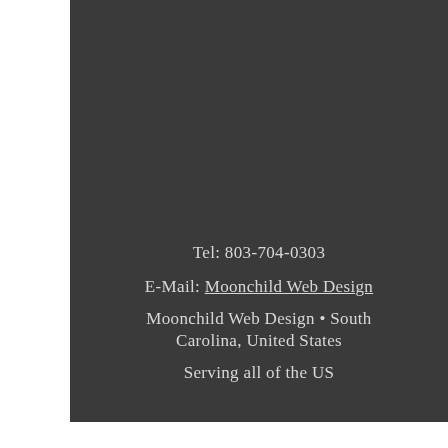Tel: 803-704-0303
E-Mail: Moonchild Web Design
Moonchild Web Design • South Carolina, United States
Serving all of the US